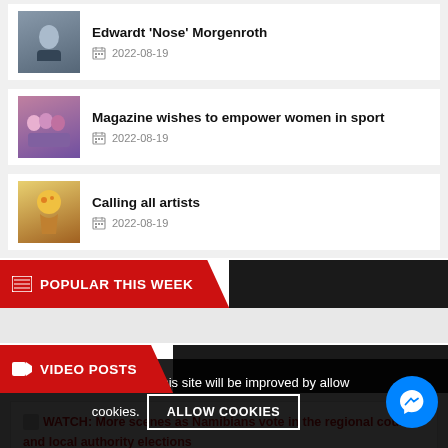Edwardt 'Nose' Morgenroth | 2022-08-19
Magazine wishes to empower women in sport | 2022-08-19
Calling all artists | 2022-08-19
POPULAR THIS WEEK
VIDEO POSTS
WATCH: More scenes as Namibians vote in the regional council and local authority elections
Your experience on this site will be improved by allowing cookies.
ALLOW COOKIES